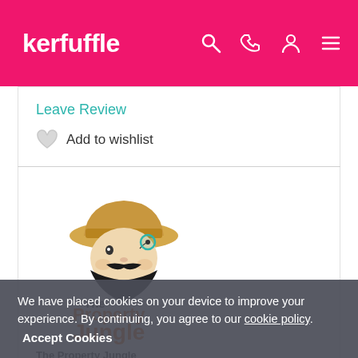kerfuffle
Leave Review
Add to wishlist
[Figure (logo): The Property Jungle logo: cartoon character wearing a pith helmet with a monocle and large black beard, above the text 'The Property Jungle' in orange and dark orange]
The Property Jungle
We build websites that help agents make and
We have placed cookies on your device to improve your experience. By continuing, you agree to our cookie policy. Accept Cookies